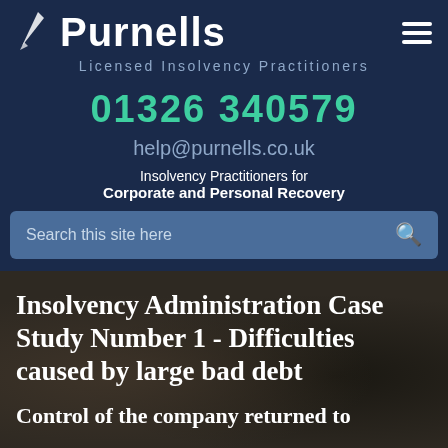Purnells — Licensed Insolvency Practitioners
01326 340579
help@purnells.co.uk
Insolvency Practitioners for Corporate and Personal Recovery
Insolvency Administration Case Study Number 1 - Difficulties caused by large bad debt
Control of the company returned to